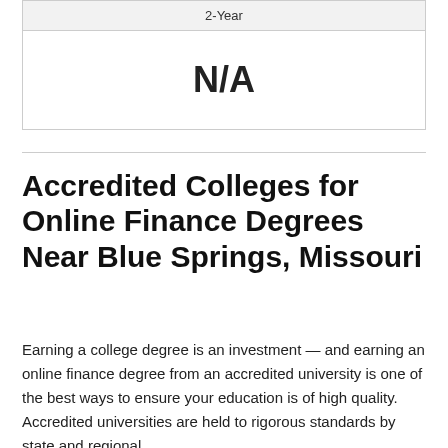| 2-Year |
| --- |
| N/A |
Accredited Colleges for Online Finance Degrees Near Blue Springs, Missouri
Earning a college degree is an investment — and earning an online finance degree from an accredited university is one of the best ways to ensure your education is of high quality. Accredited universities are held to rigorous standards by state and regional